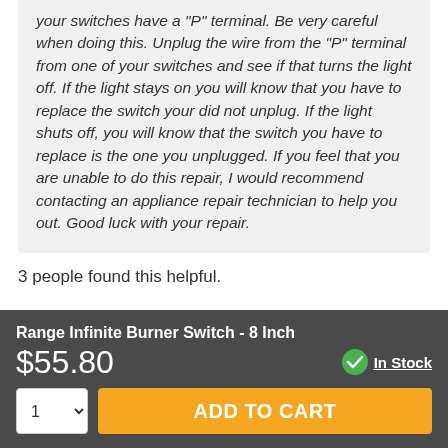your switches have a "P" terminal. Be very careful when doing this. Unplug the wire from the "P" terminal from one of your switches and see if that turns the light off. If the light stays on you will know that you have to replace the switch your did not unplug. If the light shuts off, you will know that the switch you have to replace is the one you unplugged. If you feel that you are unable to do this repair, I would recommend contacting an appliance repair technician to help you out. Good luck with your repair.
3 people found this helpful.
Range Infinite Burner Switch - 8 Inch
$55.80
In Stock
ADD TO CART